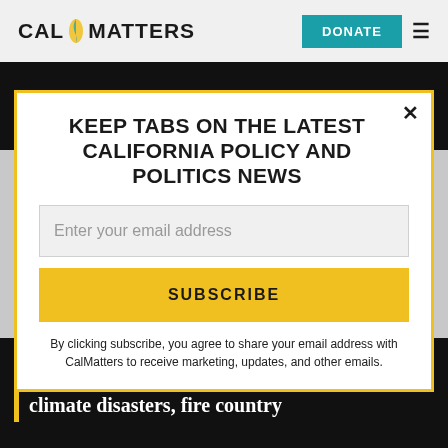CAL MATTERS | DONATE
students in 'disaster relief'
KEEP TABS ON THE LATEST CALIFORNIA POLICY AND POLITICS NEWS
Enter your email address
SUBSCRIBE
By clicking subscribe, you agree to share your email address with CalMatters to receive marketing, updates, and other emails.
PART 6
Make up school time lost to climate disasters, fire country